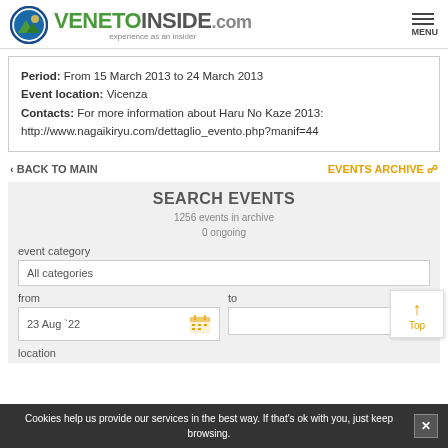VENETOINSIDE.com — experience as an insider
Period: From 15 March 2013 to 24 March 2013
Event location: Vicenza
Contacts: For more information about Haru No Kaze 2013: http://www.nagaikiryu.com/dettaglio_evento.php?manif=44
< BACK TO MAIN    EVENTS ARCHIVE 🔍
SEARCH EVENTS
1256 events in archive
0 ongoing
event category
All categories
from
23 Aug '22
to
location
Cookies help us provide our services in the best way. If that's ok with you, just keep browsing.